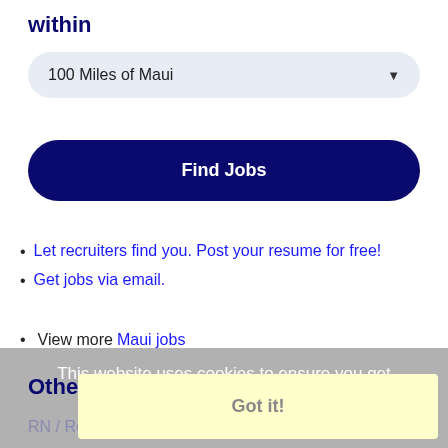within
100 Miles of Maui
Find Jobs
Let recruiters find you. Post your resume for free!
Get jobs via email.
View more Maui jobs
This website uses cookies to ensure you get the best experience on our website.
Learn more
Other Jobs
Got it!
RN / Registered Nurse Job in Kapaa, Hawaii / Travel